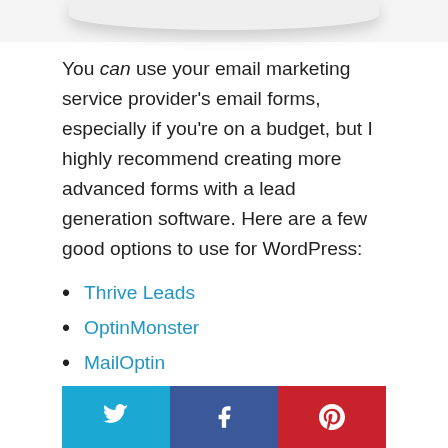[Figure (photo): Partial bottom of a product or device image at the top of the page, showing curved white edge with shadow]
You can use your email marketing service provider's email forms, especially if you're on a budget, but I highly recommend creating more advanced forms with a lead generation software. Here are a few good options to use for WordPress:
Thrive Leads
OptinMonster
MailOptin
Icegram
[Figure (infographic): Social share buttons bar: Twitter (blue), Facebook (dark blue), Pinterest (red)]